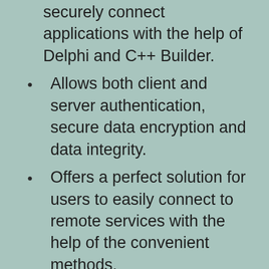securely connect applications with the help of Delphi and C++ Builder.
Allows both client and server authentication, secure data encryption and data integrity.
Offers a perfect solution for users to easily connect to remote services with the help of the convenient methods.
Provides a variety of advanced and robust data access components to prevent data theft on insecure and suspicious networks.
Provides authentication for client and server, strong data encryption, and data...